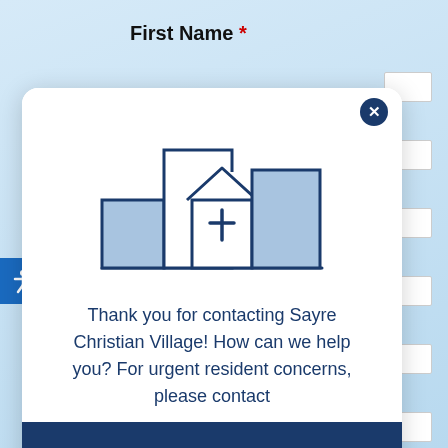First Name *
[Figure (illustration): Church/community building illustration with outline of buildings and a church with a cross symbol, in navy blue and light blue colors]
Thank you for contacting Sayre Christian Village! How can we help you? For urgent resident concerns, please contact
(859) 271-9000
How can I help you today?